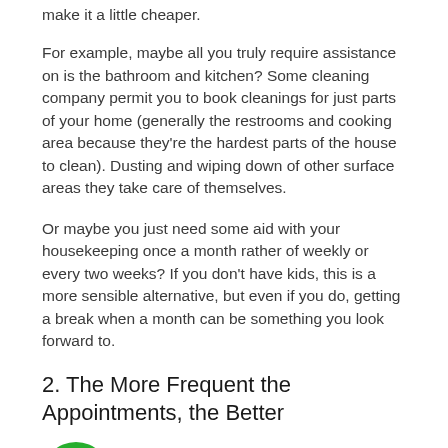make it a little cheaper.
For example, maybe all you truly require assistance on is the bathroom and kitchen? Some cleaning company permit you to book cleanings for just parts of your home (generally the restrooms and cooking area because they're the hardest parts of the house to clean). Dusting and wiping down of other surface areas they take care of themselves.
Or maybe you just need some aid with your housekeeping once a month rather of weekly or every two weeks? If you don't have kids, this is a more sensible alternative, but even if you do, getting a break when a month can be something you look forward to.
2. The More Frequent the Appointments, the Better
[Figure (illustration): Green circular phone icon with white telephone handset]
cy matters
Required a regular monthly cleaning, bi-weekly, or weekly